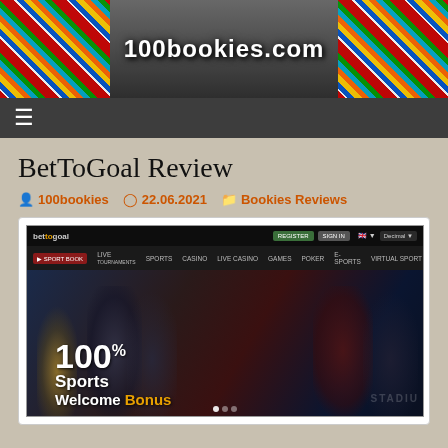[Figure (screenshot): 100bookies.com website header banner with colorful bookmaker logos on sides and site name in center]
100bookies.com
BetToGoal Review
100bookies  22.06.2021  Bookies Reviews
[Figure (screenshot): Screenshot of BetToGoal website showing navigation bar with LIVE, SPORTS TOURNAMENTS, CASINO, LIVE CASINO, GAMES, POKER, E-SPORTS, VIRTUAL SPORT menu items and a hero banner showing 100% Sports Welcome Bonus]